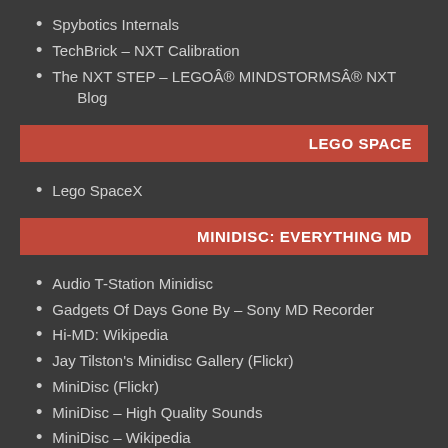Spybotics Internals
TechBrick – NXT Calibration
The NXT STEP – LEGOÂ® MINDSTORMSÂ® NXT Blog
LEGO SPACE
Lego SpaceX
MINIDISC: EVERYTHING MD
Audio T-Station Minidisc
Gadgets Of Days Gone By – Sony MD Recorder
Hi-MD: Wikipedia
Jay Tilston's Minidisc Gallery (Flickr)
MiniDisc (Flickr)
MiniDisc – High Quality Sounds
MiniDisc – Wikipedia
Minidisc Access (Online Store)
MiniDisc Blanks Gallery